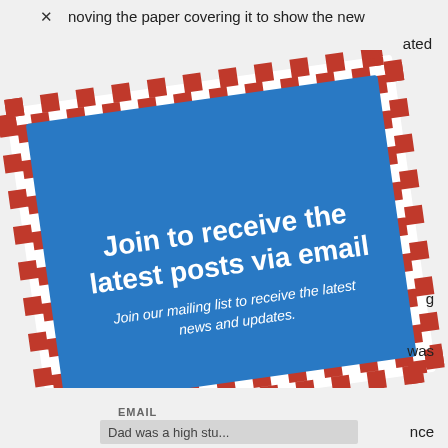noving the paper covering it to show the new
ated
[Figure (infographic): Email newsletter signup modal card shown as a tilted blue rectangle with red and white dashed airmail border. Contains heading 'Join to receive the latest posts via email' and subtext 'Join our mailing list to receive the latest news and updates.' positioned over a webpage background.]
g
was
o be
nce
EMAIL
Dad was a high stu...